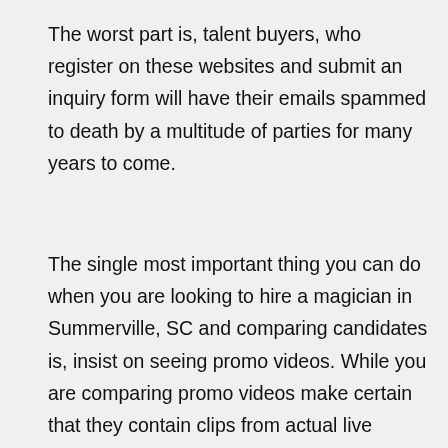The worst part is, talent buyers, who register on these websites and submit an inquiry form will have their emails spammed to death by a multitude of parties for many years to come.
The single most important thing you can do when you are looking to hire a magician in Summerville, SC and comparing candidates is, insist on seeing promo videos. While you are comparing promo videos make certain that they contain clips from actual live performances and not just "staged" video footage. It's very easy to tell the